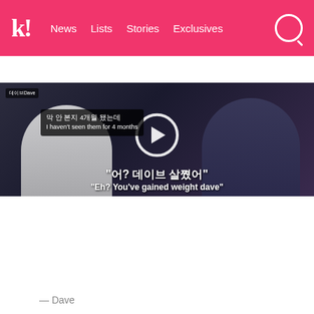k! News  Lists  Stories  Exclusives
BTS  BLACKPINK  TWICE  SEVENTEEN  Girls' Generation
[Figure (screenshot): Video thumbnail showing two people sitting. Korean subtitles read: '막 안 본지 4개월 됐는데 / I haven't seen them for 4 months' and '"어? 데이브 살쪘어" / "Eh? You've gained weight dave"'. A play button is visible in the center.]
I haven't seen them for 4 months... 'Dave, how've you been? You've gained so much weight!' I'll be like...???
— Dave